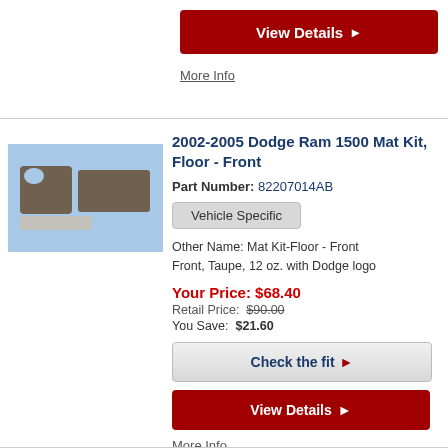View Details
More Info
2002-2005 Dodge Ram 1500 Mat Kit, Floor - Front
Part Number: 82207014AB
Vehicle Specific
Other Name: Mat Kit-Floor - Front
Front, Taupe, 12 oz. with Dodge logo
Your Price: $68.40
Retail Price: $90.00
You Save: $21.60
Check the fit
View Details
More Info